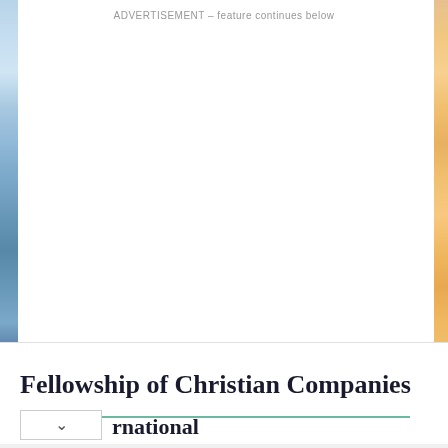ADVERTISEMENT – feature continues below
[Figure (other): Advertisement area with left and right decorative image strips (light blue/teal on left, orange/gold on right) flanking a white center area]
Fellowship of Christian Companies
rnational